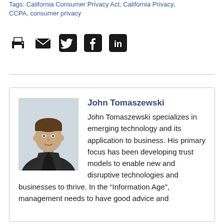Tags: California Consumer Privacy Act, California Privacy, CCPA, consumer privacy
[Figure (infographic): Row of social sharing icons: print, email, Twitter, Facebook, LinkedIn]
John Tomaszewski
John Tomaszewski specializes in emerging technology and its application to business. His primary focus has been developing trust models to enable new and disruptive technologies and businesses to thrive. In the “Information Age”, management needs to have good advice and